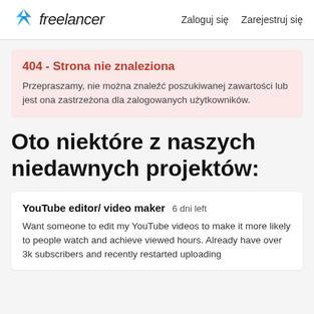freelancer   Zaloguj się   Zarejestruj się
404 - Strona nie znaleziona
Przepraszamy, nie można znaleźć poszukiwanej zawartości lub jest ona zastrzeżona dla zalogowanych użytkowników.
Oto niektóre z naszych niedawnych projektów:
YouTube editor/ video maker  6 dni left
Want someone to edit my YouTube videos to make it more likely to people watch and achieve viewed hours. Already have over 3k subscribers and recently restarted uploading